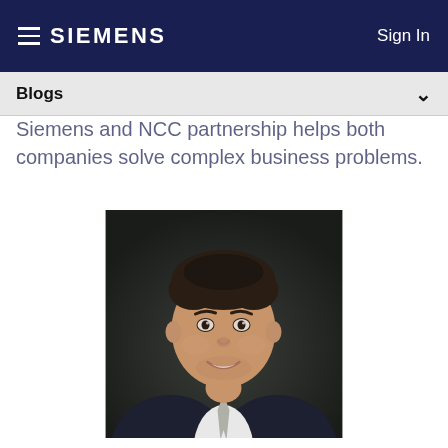SIEMENS  Sign In
Blogs
Siemens and NCC partnership helps both companies solve complex business problems.
[Figure (photo): Professional headshot of a smiling man in a dark suit and tie with a dark background]